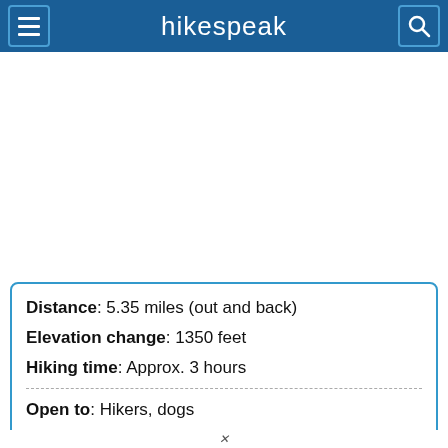hikespeak
Distance: 5.35 miles (out and back)
Elevation change: 1350 feet
Hiking time: Approx. 3 hours
Open to: Hikers, dogs
Fees & Permits: [cut off]